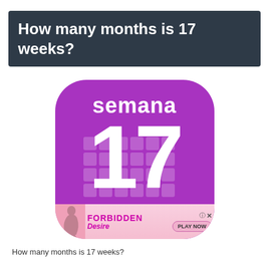How many months is 17 weeks?
[Figure (screenshot): App icon for 'Semana' pregnancy/calendar app showing a purple rounded square icon with the word 'semana' at the top and the large number '17' below, with a faded calendar grid in the background. An advertisement banner for 'Forbidden Desire' appears at the bottom of the icon.]
How many months is 17 weeks?